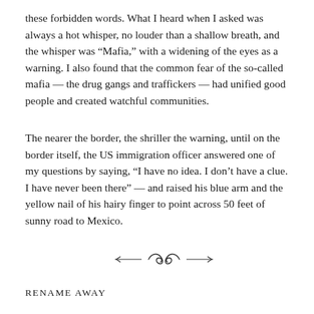these forbidden words. What I heard when I asked was always a hot whisper, no louder than a shallow breath, and the whisper was “Mafia,” with a widening of the eyes as a warning. I also found that the common fear of the so-called mafia — the drug gangs and traffickers — had unified good people and created watchful communities.
The nearer the border, the shriller the warning, until on the border itself, the US immigration officer answered one of my questions by saying, “I have no idea. I don’t have a clue. I have never been there” — and raised his blue arm and the yellow nail of his hairy finger to point across 50 feet of sunny road to Mexico.
[Figure (illustration): Decorative typographic ornament: a horizontal flourish with curving lines and a central swirl motif]
RENAME AWAY